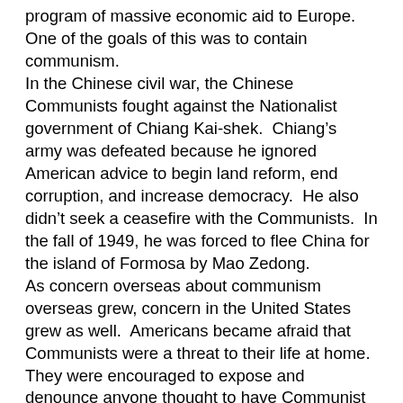program of massive economic aid to Europe.  One of the goals of this was to contain communism.
In the Chinese civil war, the Chinese Communists fought against the Nationalist government of Chiang Kai-shek.  Chiang's army was defeated because he ignored American advice to begin land reform, end corruption, and increase democracy.  He also didn't seek a ceasefire with the Communists.  In the fall of 1949, he was forced to flee China for the island of Formosa by Mao Zedong.
As concern overseas about communism overseas grew, concern in the United States grew as well.  Americans became afraid that Communists were a threat to their life at home.  They were encouraged to expose and denounce anyone thought to have Communist leanings.  A climate of fear similar to that of the Red Scare developed.
The Loyalty Review Board was developed in 1947 by Truman to respond to fears about radicals in the government.  This caused federal employees to be fired for having once belonged to a group, or signed a petition, that the Board deemed “subversive”.  Around 1200 federal workers were fired for being “disloyal” or “bad security risks” while Truman was in office and about 5000 more resigned under pressure.  The House